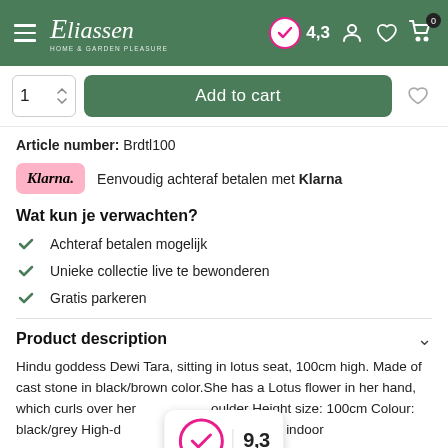Eliassen — Home & Garden Pleasure — Rating: 4.3
1  Add to cart
Article number: Brdtl100
Eenvoudig achteraf betalen met Klarna
Wat kun je verwachten?
Achteraf betalen mogelijk
Unieke collectie live te bewonderen
Gratis parkeren
Product description
Hindu goddess Dewi Tara, sitting in lotus seat, 100cm high. Made of cast stone in black/brown color.She has a Lotus flower in her hand, which curls over her shoulder Height size: 100cm Colour: black/grey High-quality stone Suitable for indoor